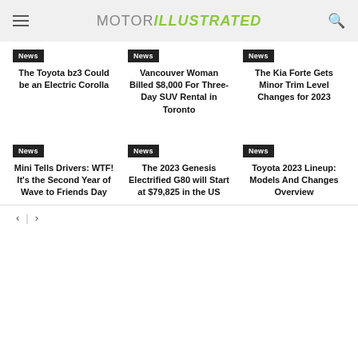MOTOR ILLUSTRATED
News — The Toyota bz3 Could be an Electric Corolla
News — Vancouver Woman Billed $8,000 For Three-Day SUV Rental in Toronto
News — The Kia Forte Gets Minor Trim Level Changes for 2023
News — Mini Tells Drivers: WTF! It's the Second Year of Wave to Friends Day
News — The 2023 Genesis Electrified G80 will Start at $79,825 in the US
News — Toyota 2023 Lineup: Models And Changes Overview